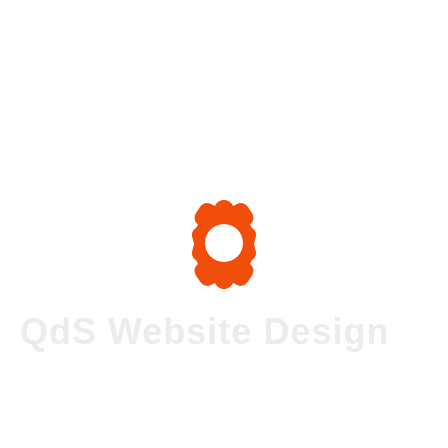[Figure (logo): Orange gear/cog icon centered on the page, with a circular hole in the middle, rendered in bright orange color (#f05a00 approximately)]
QdS Website Design